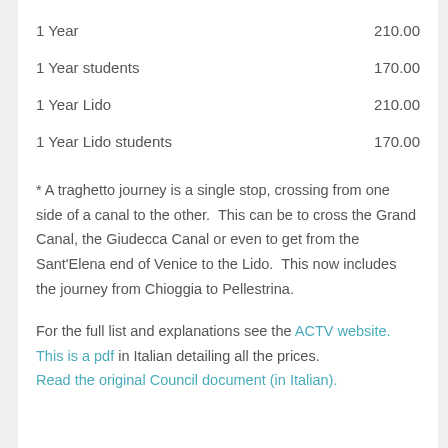|  |  |
| --- | --- |
| 1 Year | 210.00 |
| 1 Year students | 170.00 |
| 1 Year Lido | 210.00 |
| 1 Year Lido students | 170.00 |
* A traghetto journey is a single stop, crossing from one side of a canal to the other.  This can be to cross the Grand Canal, the Giudecca Canal or even to get from the Sant'Elena end of Venice to the Lido.  This now includes the journey from Chioggia to Pellestrina.
For the full list and explanations see the ACTV website. This is a pdf in Italian detailing all the prices.
Read the original Council document (in Italian).